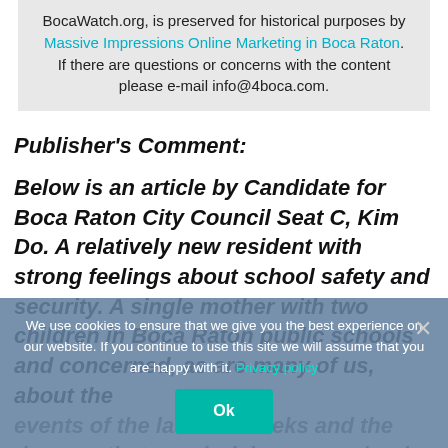BocaWatch.org, is preserved for historical purposes by Massive Impressions Online Marketing in Boca Raton. If there are questions or concerns with the content please e-mail info@4boca.com.
Publisher's Comment:
Below is an article by Candidate for Boca Raton City Council Seat C, Kim Do.  A relatively new resident with strong feelings about school safety and security.  A single mother with two children in Boca Raton public schools and concerned, as are many of us, about the events of the last few weeks and the dangers that now lurk in every school nationwide.
Ms. Do is hosting a meet and greet event at the Biergarten Restaurant in the Royal Palm Plaza this
We use cookies to ensure that we give you the best experience on our website. If you continue to use this site we will assume that you are happy with it. Privacy policy Ok